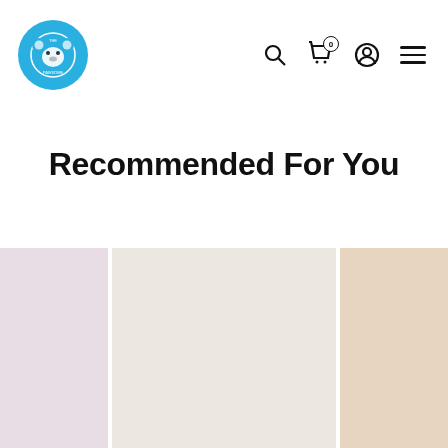The Pawsome - navigation header with logo and icons
Recommended For You
[Figure (screenshot): Three product placeholder cards in pastel colors: lavender/mauve on left, cream/beige in center, peach on right]